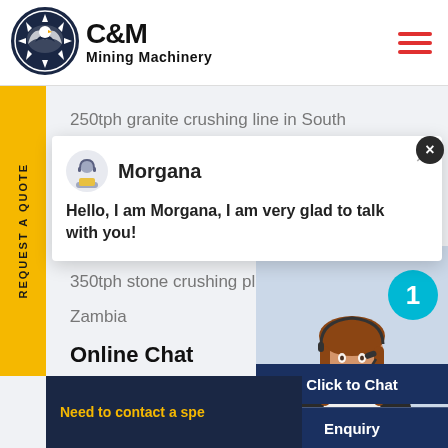[Figure (logo): C&M Mining Machinery logo with circular eagle/gear emblem in navy blue, company name in bold black text]
250tph granite crushing line in South
[Figure (screenshot): Live chat popup with avatar of agent named Morgana, message: Hello, I am Morgana, I am very glad to talk with you!]
350tph stone crushing plant
Zambia
Online Chat
[Figure (photo): Customer service representative wearing headset, smiling]
Need to contact a spe
Click to Chat
Enquiry